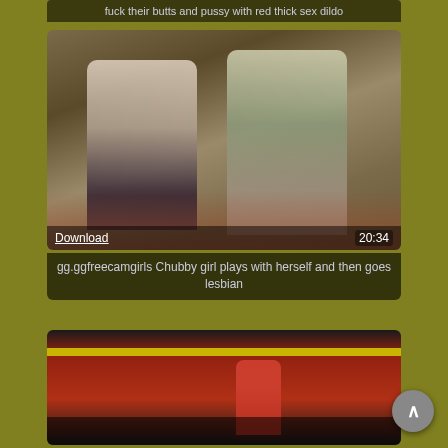fuck their butts and pussy with red thick sex dildo
[Figure (photo): Two women in a kitchen scene, one in a white top and skirt, one in a grey dress. Overlay shows Download link and duration 20:34.]
gg.ggfreecamgirls Chubby girl plays with herself and then goes lesbian
[Figure (photo): Woman in red dress sitting in what appears to be a taxi or vehicle with red interior.]